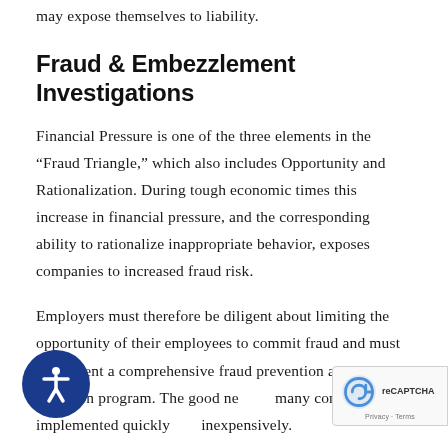may expose themselves to liability.
Fraud & Embezzlement Investigations
Financial Pressure is one of the three elements in the “Fraud Triangle,” which also includes Opportunity and Rationalization. During tough economic times this increase in financial pressure, and the corresponding ability to rationalize inappropriate behavior, exposes companies to increased fraud risk.
Employers must therefore be diligent about limiting the opportunity of their employees to commit fraud and must implement a comprehensive fraud prevention and detection program. The good news is many controls can be implemented quickly and inexpensively.